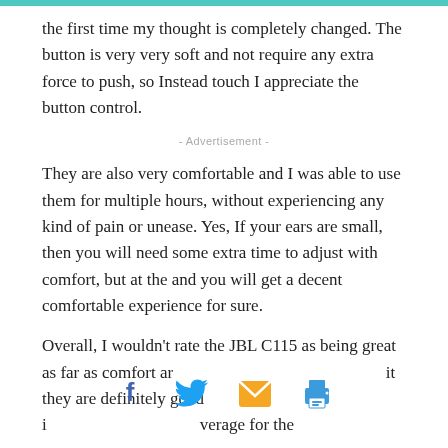the first time my thought is completely changed. The button is very very soft and not require any extra force to push, so Instead touch I appreciate the button control.
- Advertisement -
They are also very comfortable and I was able to use them for multiple hours, without experiencing any kind of pain or unease. Yes, If your ears are small, then you will need some extra time to adjust with comfort, but at the and you will get a decent comfortable experience for sure.
Overall, I wouldn't rate the JBL C115 as being great as far as comfort ar          it they are definitely good i          verage for the